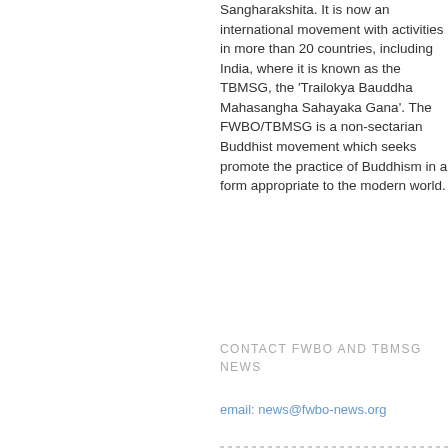Sangharakshita. It is now an international movement with activities in more than 20 countries, including India, where it is known as the TBMSG, the 'Trailokya Bauddha Mahasangha Sahayaka Gana'. The FWBO/TBMSG is a non-sectarian Buddhist movement which seeks promote the practice of Buddhism in a form appropriate to the modern world.
CONTACT FWBO AND TBMSG NEWS
email: news@fwbo-news.org